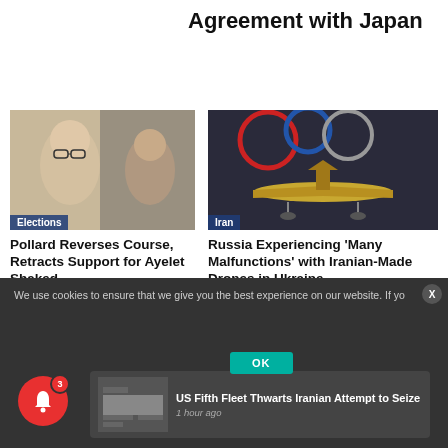Agreement with Japan
[Figure (photo): Man with glasses and beard — Elections photo]
Elections
Pollard Reverses Course, Retracts Support for Ayelet Shaked
[Figure (photo): Drone on display in exhibition hall — Iran photo]
Iran
Russia Experiencing ‘Many Malfunctions’ with Iranian-Made Drones in Ukraine
We use cookies to ensure that we give you the best experience on our website. If yo
[Figure (photo): Thumbnail image of vessel/ship]
US Fifth Fleet Thwarts Iranian Attempt to Seize
1 hour ago